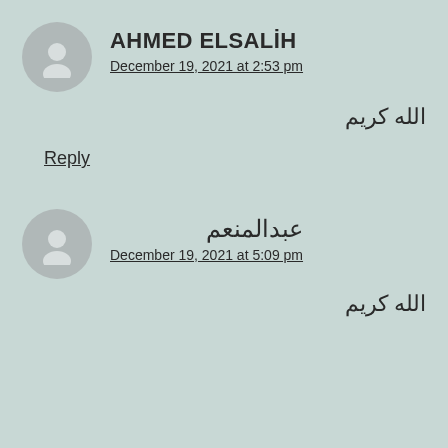AHMED ELSALİH
December 19, 2021 at 2:53 pm
الله كريم
Reply
عبدالمنعم
December 19, 2021 at 5:09 pm
الله كريم